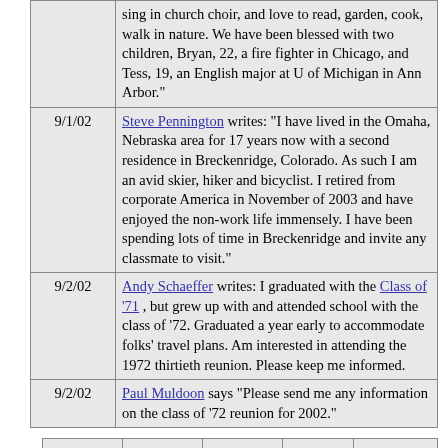| Date | Message |
| --- | --- |
|  | sing in church choir, and love to read, garden, cook, walk in nature. We have been blessed with two children, Bryan, 22, a fire fighter in Chicago, and Tess, 19, an English major at U of Michigan in Ann Arbor." |
| 9/1/02 | Steve Pennington writes: "I have lived in the Omaha, Nebraska area for 17 years now with a second residence in Breckenridge, Colorado. As such I am an avid skier, hiker and bicyclist. I retired from corporate America in November of 2003 and have enjoyed the non-work life immensely. I have been spending lots of time in Breckenridge and invite any classmate to visit." |
| 9/2/02 | Andy Schaeffer writes: I graduated with the Class of '71 , but grew up with and attended school with the class of '72. Graduated a year early to accommodate folks' travel plans. Am interested in attending the 1972 thirtieth reunion. Please keep me informed. |
| 9/2/02 | Paul Muldoon says "Please send me any information on the class of '72 reunion for 2002." |
| Classmates List | Lost Classmates | Deceased Classmates | Messages | Reunion Information |
| --- | --- | --- | --- | --- |
Reunion Information